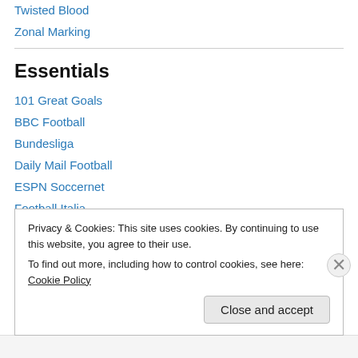Twisted Blood
Zonal Marking
Essentials
101 Great Goals
BBC Football
Bundesliga
Daily Mail Football
ESPN Soccernet
Football Italia
Four Four Two
Privacy & Cookies: This site uses cookies. By continuing to use this website, you agree to their use.
To find out more, including how to control cookies, see here: Cookie Policy
Close and accept